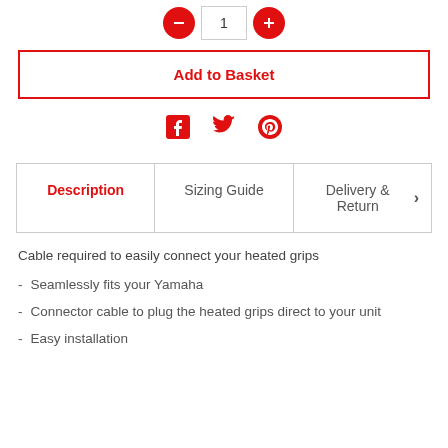[Figure (other): Quantity selector with minus and plus red circle buttons and a text input box showing 1]
[Figure (other): Add to Basket button with red border and red text]
[Figure (other): Social media icons: Facebook, Twitter, Pinterest in red]
[Figure (other): Tab navigation with Description (active, red), Sizing Guide, and Delivery & Return tabs]
Cable required to easily connect your heated grips
Seamlessly fits your Yamaha
Connector cable to plug the heated grips direct to your unit
Easy installation